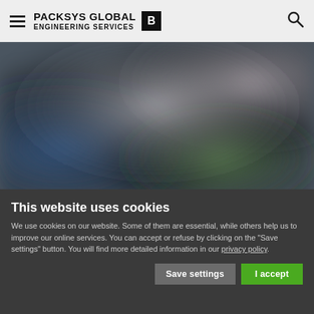PACKSYS GLOBAL ENGINEERING SERVICES
[Figure (photo): Blurred background image showing industrial/engineering machinery in blueish and greenish tones]
This website uses cookies
We use cookies on our website. Some of them are essential, while others help us to improve our online services. You can accept or refuse by clicking on the "Save settings" button. You will find more detailed information in our privacy policy.
Save settings | I accept
Necessary  Preferences  Statistics  Marketing  Show details